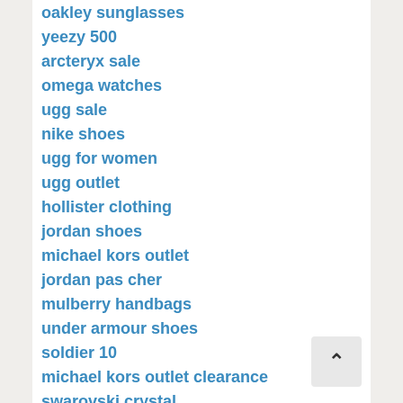oakley sunglasses
yeezy 500
arcteryx sale
omega watches
ugg sale
nike shoes
ugg for women
ugg outlet
hollister clothing
jordan shoes
michael kors outlet
jordan pas cher
mulberry handbags
under armour shoes
soldier 10
michael kors outlet clearance
swarovski crystal
nike basketball shoes
nfl jerseys
ralph lauren polo